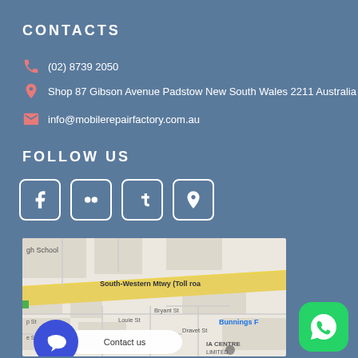CONTACTS
(02) 8739 2050
Shop 87 Gibson Avenue Padstow New South Wales 2211 Australia
info@mobilerepairfactory.com.au
FOLLOW US
[Figure (infographic): Social media icons: Facebook, Flickr, Tumblr, Google Maps pin]
[Figure (map): Google map showing South-Western Mtwy (Toll road), Bryant St, Louie St, Dravet St, Bunnings, with Contact us chat bubble overlay]
[Figure (logo): WhatsApp green button icon in bottom right corner]